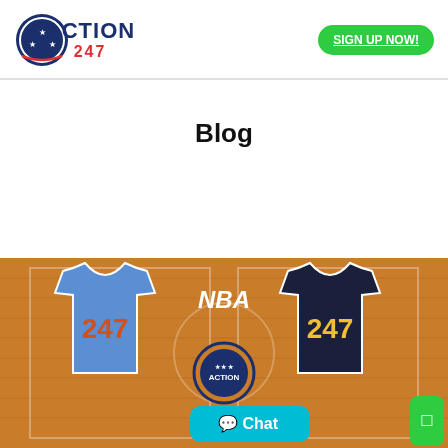[Figure (logo): Action247 logo with circular star emblem on left and ACTION 247 text on right in navy and red]
SIGN UP NOW!
Blog
[Figure (illustration): Basketball court background with two jerseys — a blue jersey with 247 in orange on the left and a dark navy jersey with 247 in yellow on the right, NBA text in center, Action247 logo below NBA text, and a teal chat bubble with Chat text at bottom right]